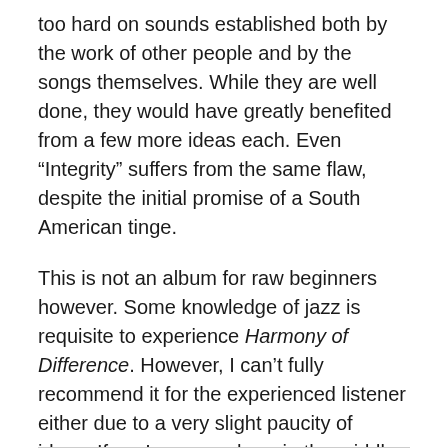too hard on sounds established both by the work of other people and by the songs themselves. While they are well done, they would have greatly benefited from a few more ideas each. Even “Integrity” suffers from the same flaw, despite the initial promise of a South American tinge.
This is not an album for raw beginners however. Some knowledge of jazz is requisite to experience Harmony of Difference. However, I can’t fully recommend it for the experienced listener either due to a very slight paucity of ideas. If you’re somewhere in the middle though, this is the perfect album for you, and even if you tend to either extreme, the sheer ability of the musicians may be enough to justify the listen anyway.
– @murthynikhil